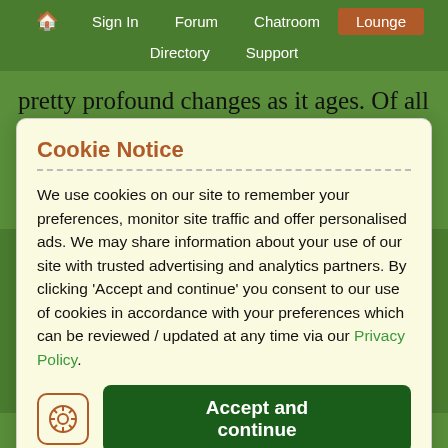🏠  Sign In  Forum  Chatroom  Lounge  Directory  Support
pretty profound changes as it ages. Of all of these changes, however, memory loss is the most serious – and the most troubling. From
Cookie Notice
We use cookies on our site to remember your preferences, monitor site traffic and offer personalised ads. We may share information about your use of our site with trusted advertising and analytics partners. By clicking 'Accept and continue' you consent to our use of cookies in accordance with your preferences which can be reviewed / updated at any time via our Privacy Policy.
Accept and continue
Every set of parents of continue has a